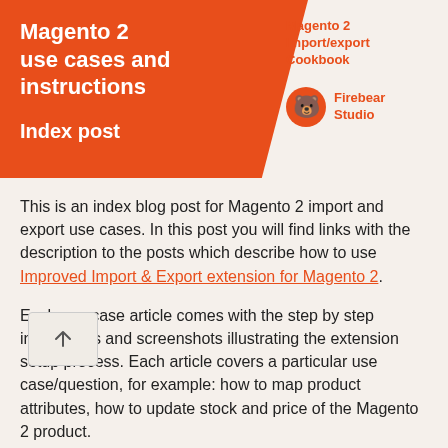[Figure (other): Orange banner with white bold text 'Magento 2 use cases and instructions' and 'Index post' on the left side, and orange text 'Magento 2 Import/export Cookbook' with Firebear Studio logo on the right side.]
This is an index blog post for Magento 2 import and export use cases. In this post you will find links with the description to the posts which describe how to use Improved Import & Export extension for Magento 2.
Each use case article comes with the step by step instructions and screenshots illustrating the extension setup process. Each article covers a particular use case/question, for example: how to map product attributes, how to update stock and price of the Magento 2 product.